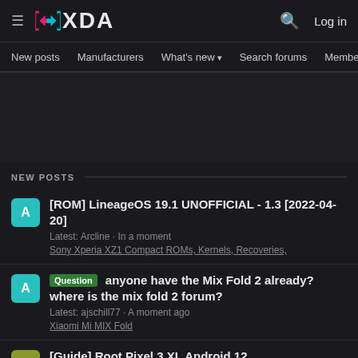XDA Forums - New posts
NEW POSTS
[ROM] LineageOS 19.1 UNOFFICIAL - 1.3 [2022-04-20] | Latest: Arcline · In a moment | Sony Xperia XZ1 Compact ROMs, Kernels, Recoveries,
Question | anyone have the Mix Fold 2 already? where is the mix fold 2 forum? | Latest: ajschill77 · A moment ago | Xiaomi Mi MIX Fold
[Guide] Root Pixel 3 XL Android 12